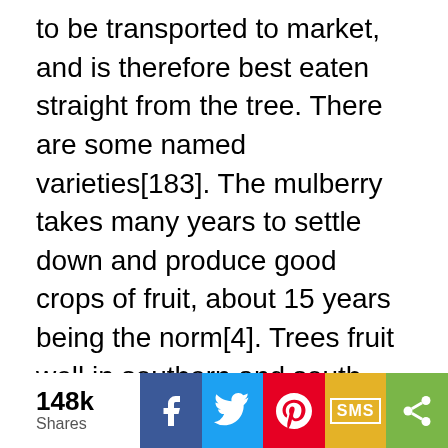to be transported to market, and is therefore best eaten straight from the tree. There are some named varieties[183]. The mulberry takes many years to settle down and produce good crops of fruit, about 15 years being the norm[4]. Trees fruit well in southern and south-western Britain[59, 200] but they require the protection of a wall further north if the fruit is to ripen[200]. This is a good tree for growing grapes into[20]. It means that the grapes are difficult to pick, but they always seem to be healthier and free from fungal diseases[201]. Plants are late coming into leaf and also lose their leaves at the first autumn frosts though the tree in leaf casts quite a dense shade[200]. Mulberries have brittle roots and so need to be handled with care when planting them out[238]. Any pruning should only be carried out in the winter when the plant is fully dormant because mulberries bleed badly when cut[238]. Ideally prune only badly placed branches and dead
[Figure (infographic): Social sharing bar with share count (148k Shares) and buttons for Facebook, Twitter, Pinterest, SMS, and More (share icon)]